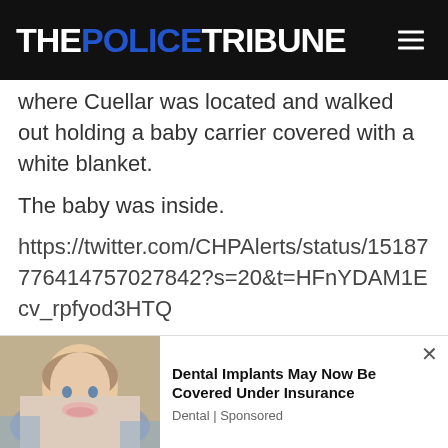THE POLICE TRIBUNE
where Cuellar was located and walked out holding a baby carrier covered with a white blanket.
The baby was inside.
https://twitter.com/CHPAlerts/status/151877641 4757027842?s=20&t=HFnYDAM1Ecv_rpfyod3HTQ
[Figure (photo): Advertisement showing a woman smiling at dental office with text: Dental Implants May Now Be Covered Under Insurance. Dental | Sponsored]